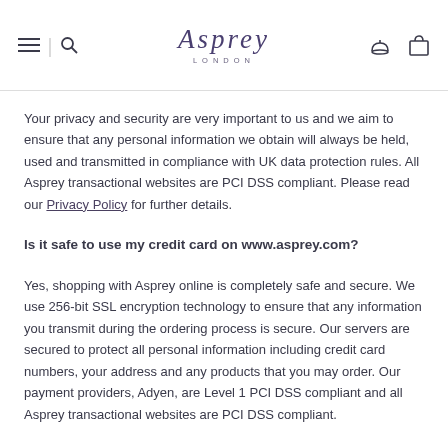Asprey London
Your privacy and security are very important to us and we aim to ensure that any personal information we obtain will always be held, used and transmitted in compliance with UK data protection rules. All Asprey transactional websites are PCI DSS compliant. Please read our Privacy Policy for further details.
Is it safe to use my credit card on www.asprey.com?
Yes, shopping with Asprey online is completely safe and secure. We use 256-bit SSL encryption technology to ensure that any information you transmit during the ordering process is secure. Our servers are secured to protect all personal information including credit card numbers, your address and any products that you may order. Our payment providers, Adyen, are Level 1 PCI DSS compliant and all Asprey transactional websites are PCI DSS compliant.